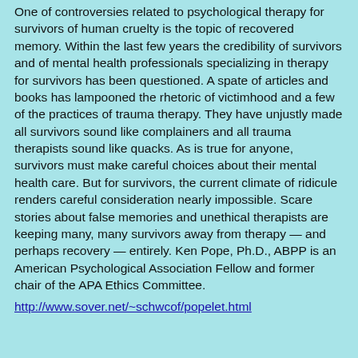One of controversies related to psychological therapy for survivors of human cruelty is the topic of recovered memory. Within the last few years the credibility of survivors and of mental health professionals specializing in therapy for survivors has been questioned. A spate of articles and books has lampooned the rhetoric of victimhood and a few of the practices of trauma therapy. They have unjustly made all survivors sound like complainers and all trauma therapists sound like quacks. As is true for anyone, survivors must make careful choices about their mental health care. But for survivors, the current climate of ridicule renders careful consideration nearly impossible. Scare stories about false memories and unethical therapists are keeping many, many survivors away from therapy — and perhaps recovery — entirely. Ken Pope, Ph.D., ABPP is an American Psychological Association Fellow and former chair of the APA Ethics Committee.
http://www.sover.net/~schwcof/popelet.html